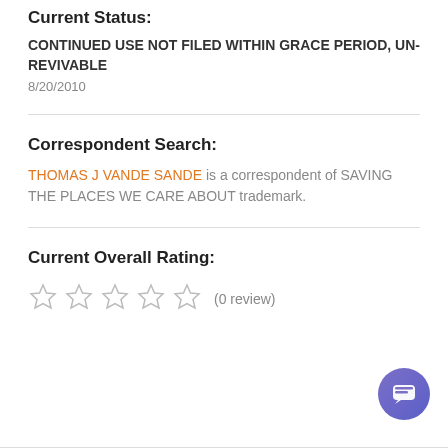Current Status:
CONTINUED USE NOT FILED WITHIN GRACE PERIOD, UN-REVIVABLE
8/20/2010
Correspondent Search:
THOMAS J VANDE SANDE is a correspondent of SAVING THE PLACES WE CARE ABOUT trademark.
Current Overall Rating:
☆ ☆ ☆ ☆ ☆ (0 review)